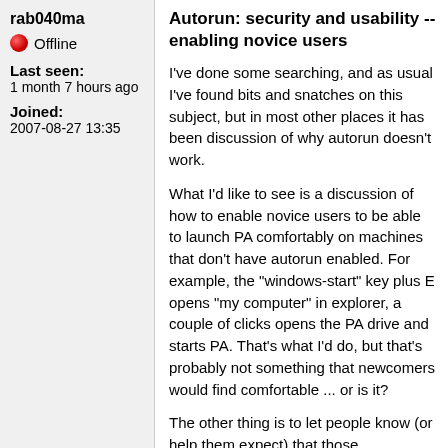rab040ma
Offline
Last seen:
1 month 7 hours ago
Joined:
2007-08-27 13:35
Autorun: security and usability -- enabling novice users
I've done some searching, and as usual I've found bits and snatches on this subject, but in most other places it has been discussion of why autorun doesn't work.
What I'd like to see is a discussion of how to enable novice users to be able to launch PA comfortably on machines that don't have autorun enabled. For example, the "windows-start" key plus E opens "my computer" in explorer, a couple of clicks opens the PA drive and starts PA. That's what I'd do, but that's probably not something that newcomers would find comfortable ... or is it?
The other thing is to let people know (or help them expect) that those